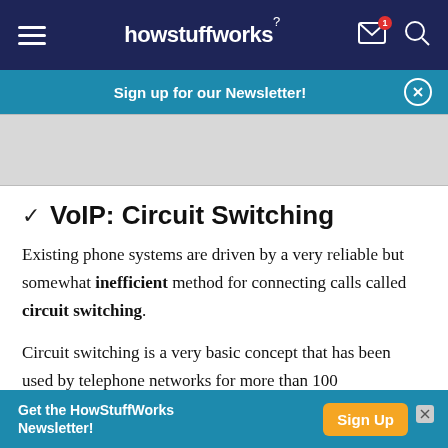howstuffworks
Sign up for our Newsletter!
VoIP: Circuit Switching
Existing phone systems are driven by a very reliable but somewhat inefficient method for connecting calls called circuit switching.
Circuit switching is a very basic concept that has been used by telephone networks for more than 100
Get the HowStuffWorks Newsletter! Sign Up